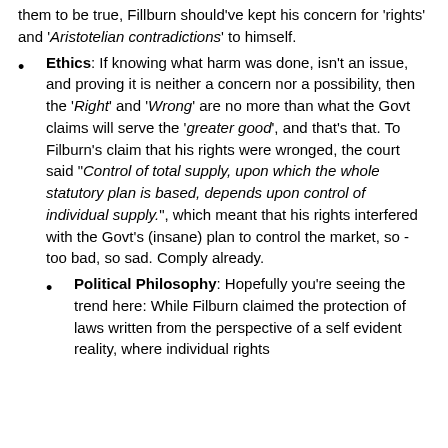them to be true, Fillburn should've kept his concern for 'rights' and 'Aristotelian contradictions' to himself.
Ethics: If knowing what harm was done, isn't an issue, and proving it is neither a concern nor a possibility, then the 'Right' and 'Wrong' are no more than what the Govt claims will serve the 'greater good', and that's that. To Filburn's claim that his rights were wronged, the court said "Control of total supply, upon which the whole statutory plan is based, depends upon control of individual supply.", which meant that his rights interfered with the Govt's (insane) plan to control the market, so - too bad, so sad. Comply already.
Political Philosophy: Hopefully you're seeing the trend here: While Filburn claimed the protection of laws written from the perspective of a self evident reality, where individual rights...